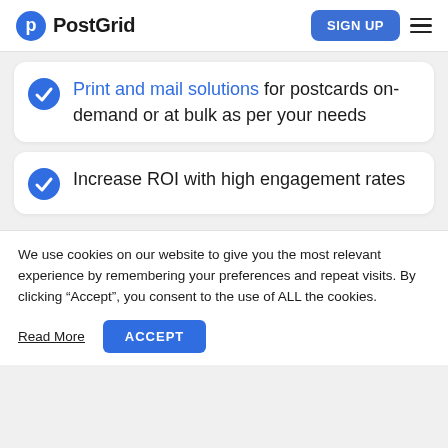PostGrid — SIGN UP
Print and mail solutions for postcards on-demand or at bulk as per your needs
Increase ROI with high engagement rates
We use cookies on our website to give you the most relevant experience by remembering your preferences and repeat visits. By clicking "Accept", you consent to the use of ALL the cookies.
Read More   ACCEPT